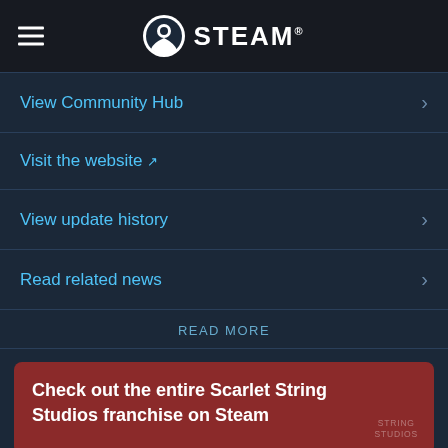STEAM
View Community Hub
Visit the website
View update history
Read related news
READ MORE
Check out the entire Scarlet String Studios franchise on Steam
ABOUT THIS CONTENT
Full soundtrack for Sepia Tears! This release includes both the